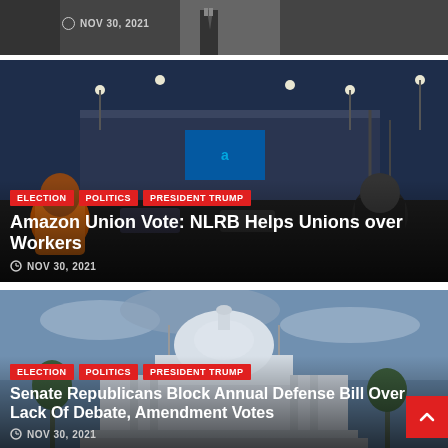[Figure (photo): Partial top card showing a dark background with a person in a suit, cropped at top]
NOV 30, 2021
[Figure (photo): Amazon warehouse exterior at night with lights, workers in foreground wearing orange vest]
ELECTION
POLITICS
PRESIDENT TRUMP
Amazon Union Vote: NLRB Helps Unions over Workers
NOV 30, 2021
[Figure (photo): US Capitol building with cloudy sky in background]
ELECTION
POLITICS
PRESIDENT TRUMP
Senate Republicans Block Annual Defense Bill Over Lack Of Debate, Amendment Votes
NOV 30, 2021